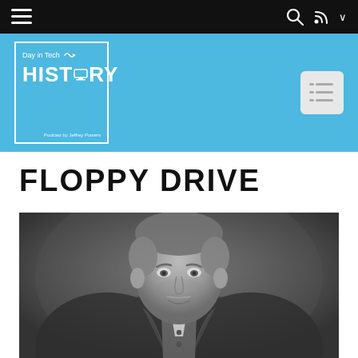Navigation bar with hamburger menu, search icon, and RSS icon
[Figure (logo): Day in Tech HISTORY podcast logo in blue square with white border]
[Figure (other): List/menu icon button in gray rounded square]
FLOPPY DRIVE
[Figure (photo): Black and white vintage portrait photo of an older man in a suit and bow tie, seated]